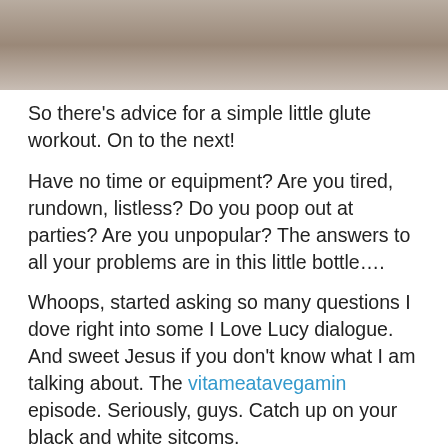[Figure (photo): Partial photo of what appears to be a ground-level scene, cropped at top of page.]
So there’s advice for a simple little glute workout. On to the next!
Have no time or equipment? Are you tired, rundown, listless? Do you poop out at parties? Are you unpopular? The answers to all your problems are in this little bottle….
Whoops, started asking so many questions I dove right into some I Love Lucy dialogue. And sweet Jesus if you don’t know what I am talking about. The vitameatavegamin episode. Seriously, guys. Catch up on your black and white sitcoms.
Back to the no time or equipment thing. Here’s a quick 10-minute crossfit style workout I found on Fitsugar.